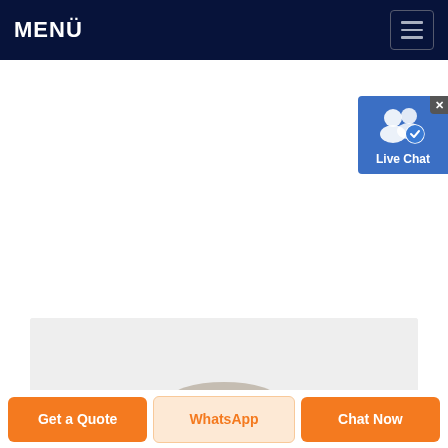MENÜ
[Figure (screenshot): Mobile website navigation bar with dark navy background, MENÜ title on left, hamburger menu button on right, with a Live Chat widget overlay in the top-right corner]
[Figure (photo): Product photo area showing the top of a round gray/beige object on a light gray background]
Get a Quote
WhatsApp
Chat Now